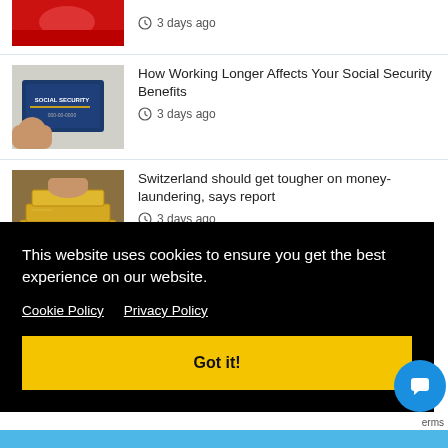[Figure (screenshot): Partial news item at top with red image (Republican elephant logo) and timestamp '3 days ago']
[Figure (screenshot): News article item: thumbnail of Social Security card, headline 'How Working Longer Affects Your Social Security Benefits', timestamp '3 days ago']
[Figure (screenshot): News article item: thumbnail of gold bars, headline 'Switzerland should get tougher on money-laundering, says report', timestamp '3 days ago']
This website uses cookies to ensure you get the best experience on our website.
Cookie Policy   Privacy Policy
Got it!